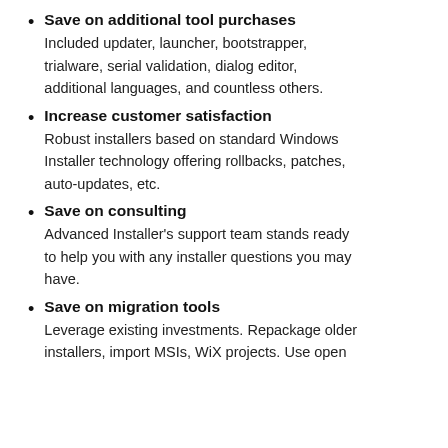Save on additional tool purchases
Included updater, launcher, bootstrapper, trialware, serial validation, dialog editor, additional languages, and countless others.
Increase customer satisfaction
Robust installers based on standard Windows Installer technology offering rollbacks, patches, auto-updates, etc.
Save on consulting
Advanced Installer's support team stands ready to help you with any installer questions you may have.
Save on migration tools
Leverage existing investments. Repackage older installers, import MSIs, WiX projects. Use open